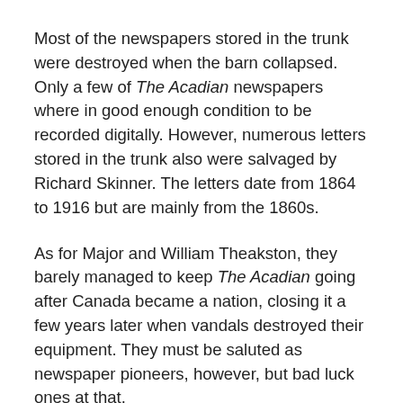Most of the newspapers stored in the trunk were destroyed when the barn collapsed. Only a few of The Acadian newspapers where in good enough condition to be recorded digitally. However, numerous letters stored in the trunk also were salvaged by Richard Skinner. The letters date from 1864 to 1916 but are mainly from the 1860s.
As for Major and William Theakston, they barely managed to keep The Acadian going after Canada became a nation, closing it a few years later when vandals destroyed their equipment. They must be saluted as newspaper pioneers, however, but bad luck ones at that.
If you dismiss a short-lived attempt in 1859 by Campbell Stephens to publish a newspaper in Wolfville, the first newspaper in Kings County was started in Canning. This was the Kings County Gazette